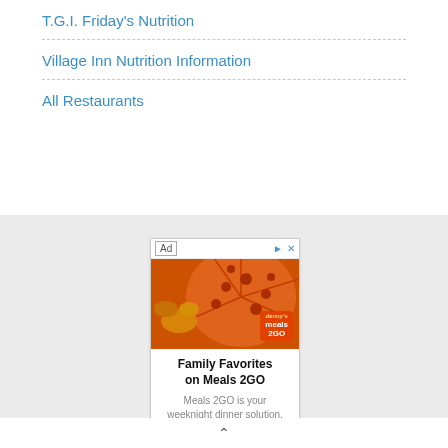T.G.I. Friday's Nutrition
Village Inn Nutrition Information
All Restaurants
[Figure (other): Advertisement for Denny's Meals 2GO. Shows a pizza with pepperoni and wings. Ad headline: Family Favorites on Meals 2GO. Subtext: Meals 2GO is your weeknight dinner solution. Everyone's favorites all in]